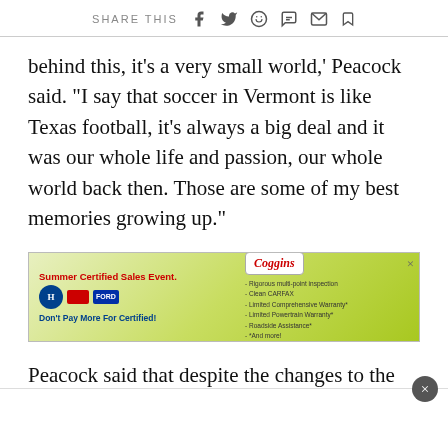SHARE THIS
behind this, it's a very small world,' Peacock said. "I say that soccer in Vermont is like Texas football, it's always a big deal and it was our whole life and passion, our whole world back then. Those are some of my best memories growing up."
[Figure (photo): Advertisement banner for Coggins Summer Certified Sales Event featuring car brand logos (Honda, Ford) and text 'Don't Pay More For Certified!']
Peacock said that despite the changes to the